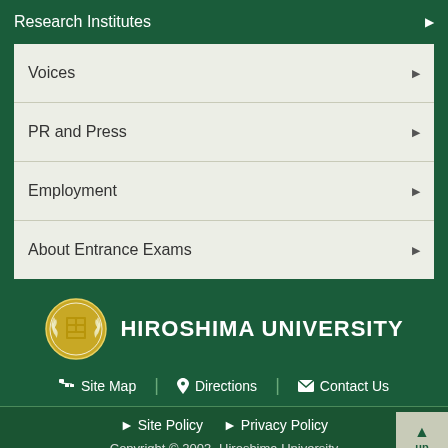Research Institutes
Voices
PR and Press
Employment
About Entrance Exams
[Figure (logo): Hiroshima University circular seal/crest logo in gold and white on dark green background, alongside text HIROSHIMA UNIVERSITY]
Site Map | Directions | Contact Us
Site Policy  Privacy Policy
Copyright © 2003- Hiroshima University